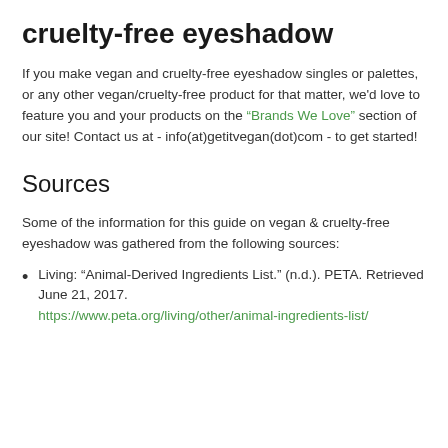cruelty-free eyeshadow
If you make vegan and cruelty-free eyeshadow singles or palettes, or any other vegan/cruelty-free product for that matter, we'd love to feature you and your products on the "Brands We Love" section of our site! Contact us at - info(at)getitvegan(dot)com - to get started!
Sources
Some of the information for this guide on vegan & cruelty-free eyeshadow was gathered from the following sources:
Living: “Animal-Derived Ingredients List.” (n.d.). PETA. Retrieved June 21, 2017. https://www.peta.org/living/other/animal-ingredients-list/